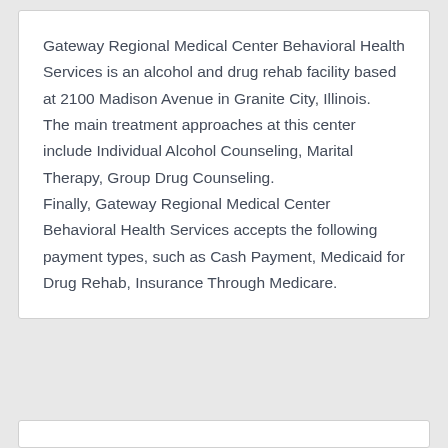Gateway Regional Medical Center Behavioral Health Services is an alcohol and drug rehab facility based at 2100 Madison Avenue in Granite City, Illinois.
The main treatment approaches at this center include Individual Alcohol Counseling, Marital Therapy, Group Drug Counseling.
Finally, Gateway Regional Medical Center Behavioral Health Services accepts the following payment types, such as Cash Payment, Medicaid for Drug Rehab, Insurance Through Medicare.